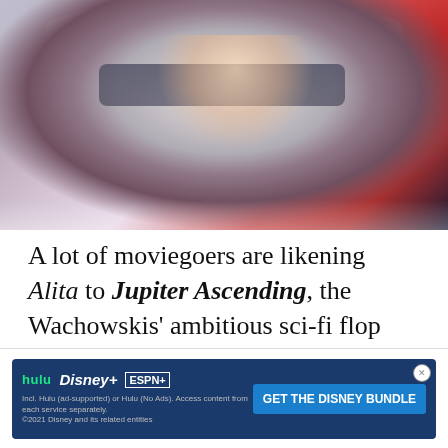[Figure (photo): A person wearing a white racing/sci-fi helmet with a red stripe, looking intensely at the camera. Background has red and dark blue colors with lighting effects. Appears to be a movie still.]
A lot of moviegoers are likening Alita to Jupiter Ascending, the Wachowskis' ambitious sci-fi flop that some appreciate as a guilty pleasure. I think it's more relevant to recommend the filmmaking duo's … re.
[Figure (screenshot): Advertisement banner: GET THE DISNEY BUNDLE with Hulu, Disney+, and ESPN+ logos. Fine print: Incl. Hulu (ad-supported) or Hulu (No Ads). Access content from each service separately. ©2021 Disney and its related entities]